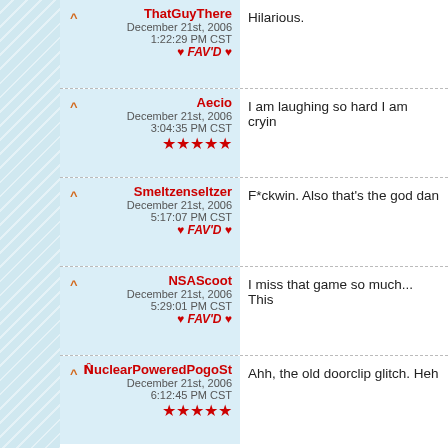ThatGuyThere | December 21st, 2006 1:22:29 PM CST | FAV'D | Hilarious.
Aecio | December 21st, 2006 3:04:35 PM CST | ★★★★★ | I am laughing so hard I am cryin
Smeltzenseltzer | December 21st, 2006 5:17:07 PM CST | FAV'D | F*ckwin. Also that's the god dan
NSAScoot | December 21st, 2006 5:29:01 PM CST | FAV'D | I miss that game so much... This
NuclearPoweredPogoSt | December 21st, 2006 6:12:45 PM CST | ★★★★★ | Ahh, the old doorclip glitch. Heh